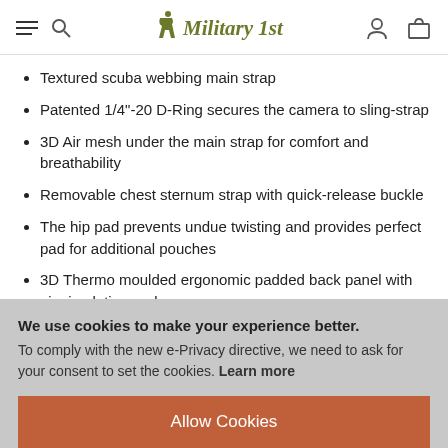Military 1st
Textured scuba webbing main strap
Patented 1/4"-20 D-Ring secures the camera to sling-strap
3D Air mesh under the main strap for comfort and breathability
Removable chest sternum strap with quick-release buckle
The hip pad prevents undue twisting and provides perfect pad for additional pouches
3D Thermo moulded ergonomic padded back panel with air circulation pad array
Multiple webbing on sides, main strap and hip pad for
We use cookies to make your experience better. To comply with the new e-Privacy directive, we need to ask for your consent to set the cookies. Learn more
Allow Cookies